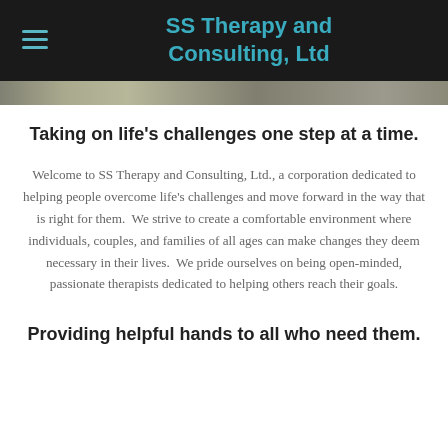SS Therapy and Consulting, Ltd
[Figure (photo): Hero banner image with outdoor/nature scene]
Taking on life's challenges one step at a time.
Welcome to SS Therapy and Consulting, Ltd., a corporation dedicated to helping people overcome life's challenges and move forward in the way that is right for them.  We strive to create a comfortable environment where individuals, couples, and families of all ages can make changes they deem necessary in their lives.  We pride ourselves on being open-minded, passionate therapists dedicated to helping others reach their goals.
Providing helpful hands to all who need them.